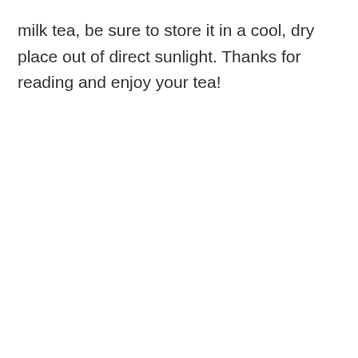milk tea, be sure to store it in a cool, dry place out of direct sunlight. Thanks for reading and enjoy your tea!